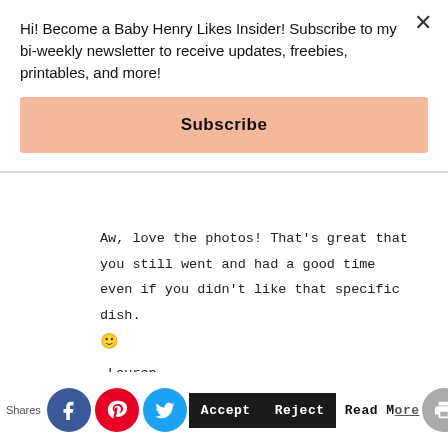Hi! Become a Baby Henry Likes Insider! Subscribe to my bi-weekly newsletter to receive updates, freebies, printables, and more!
Subscribe
Aw, love the photos! That's great that you still went and had a good time even if you didn't like that specific dish. 🙂 -Lauren http://www.shootingstarsmag.net
This website uses cookies to improve your experience. We'll assume you're ok with this, but you can opt-out if you wish.
Accept   Reject   Read More
Shares